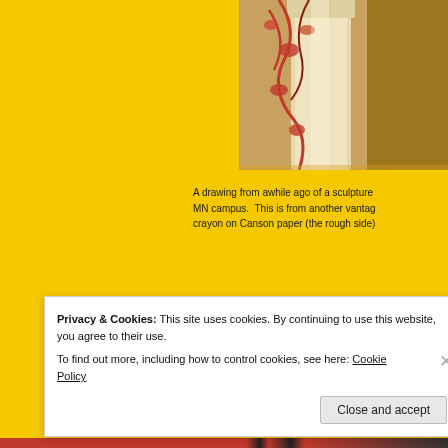[Figure (photo): Cropped view of a drawing of a sculpture, showing architectural column and decorative plant/vine details in reddish-orange tones on a warm background.]
A drawing from awhile ago of a sculpture MN campus.  This is from another vantage crayon on Canson paper (the rough side)
Dr. Mary McNaughton and Drawing
Using Multi Media
Privacy & Cookies: This site uses cookies. By continuing to use this website, you agree to their use.
To find out more, including how to control cookies, see here: Cookie Policy
Close and accept